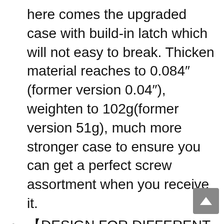here comes the upgraded case with build-in latch which will not easy to break. Thicken material reaches to 0.084″ (former version 0.04″), weighten to 102g(former version 51g), much more stronger case to ensure you can get a perfect screw assortment when you receive it.
【DESIGN FOR DIFFERENT THICKNESS CABINET】Special design for different wood board thickness from 14 to 45mm(0.55″-1.77″) which are